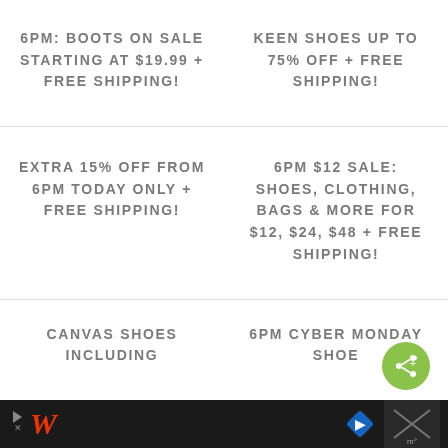6PM: BOOTS ON SALE STARTING AT $19.99 + FREE SHIPPING!
KEEN SHOES UP TO 75% OFF + FREE SHIPPING!
EXTRA 15% OFF FROM 6PM TODAY ONLY + FREE SHIPPING!
6PM $12 SALE: SHOES, CLOTHING, BAGS & MORE FOR $12, $24, $48 + FREE SHIPPING!
CANVAS SHOES INCLUDING
6PM CYBER MONDAY SHOE
[Figure (other): Advertisement banner at bottom with Walgreens logo, navigation icon, share button, and weather icon on dark background]